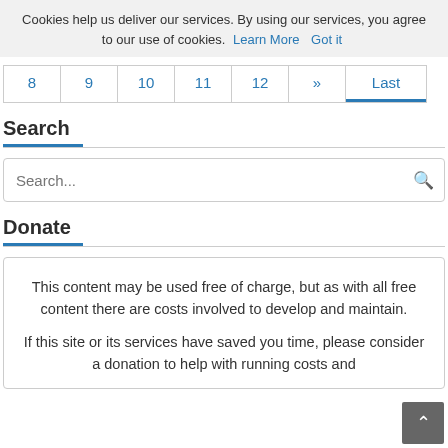Cookies help us deliver our services. By using our services, you agree to our use of cookies. Learn More  Got it
8  9  10  11  12  »  Last
Search
Search...
Donate
This content may be used free of charge, but as with all free content there are costs involved to develop and maintain.
If this site or its services have saved you time, please consider a donation to help with running costs and